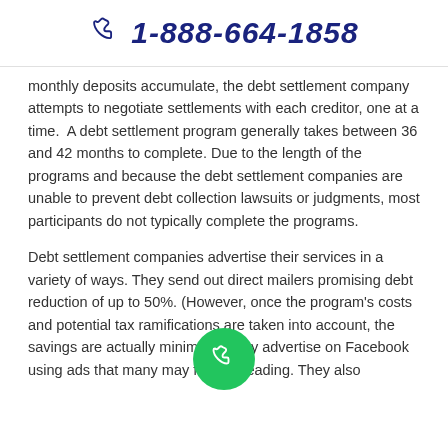1-888-664-1858
monthly deposits accumulate, the debt settlement company attempts to negotiate settlements with each creditor, one at a time.  A debt settlement program generally takes between 36 and 42 months to complete. Due to the length of the programs and because the debt settlement companies are unable to prevent debt collection lawsuits or judgments, most participants do not typically complete the programs.
Debt settlement companies advertise their services in a variety of ways. They send out direct mailers promising debt reduction of up to 50%. (However, once the program's costs and potential tax ramifications are taken into account, the savings are actually minimal.)  They advertise on Facebook using ads that many may find misleading. They also